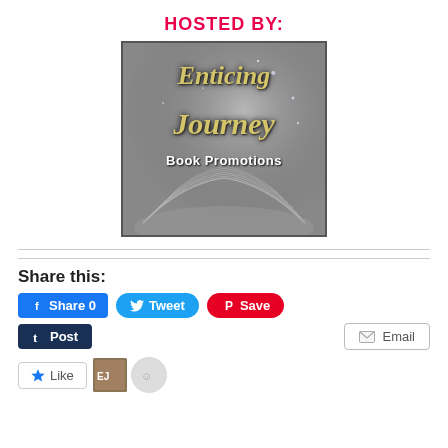HOSTED BY:
[Figure (logo): Enticing Journey Book Promotions logo — gray bokeh background with open book, gold italic script text reading 'Enticing Journey' and white bold text 'Book Promotions']
Share this:
[Figure (screenshot): Social sharing buttons: Facebook Share 0, Tweet, Pinterest Save, Tumblr Post, Email, WordPress Like button with two follower avatars]